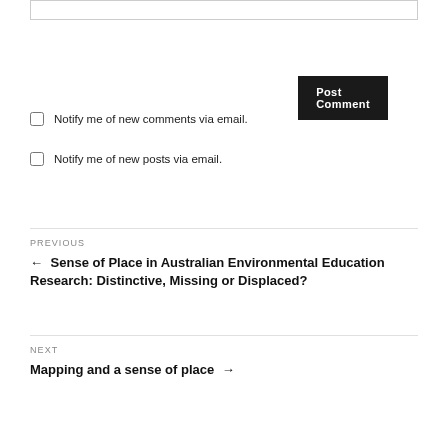Notify me of new comments via email.
Notify me of new posts via email.
PREVIOUS
← Sense of Place in Australian Environmental Education Research: Distinctive, Missing or Displaced?
NEXT
Mapping and a sense of place →